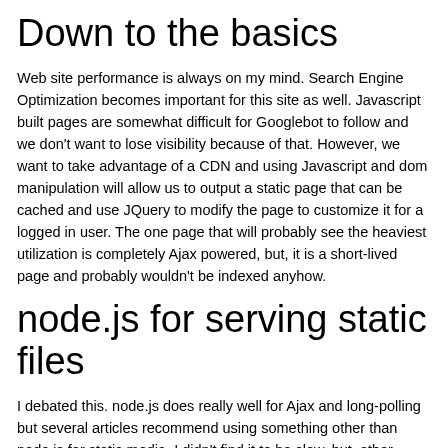that should be fairly quick.
Down to the basics
Web site performance is always on my mind. Search Engine Optimization becomes important for this site as well. Javascript built pages are somewhat difficult for Googlebot to follow and we don't want to lose visibility because of that. However, we want to take advantage of a CDN and using Javascript and dom manipulation will allow us to output a static page that can be cached and use JQuery to modify the page to customize it for a logged in user. The one page that will probably see the heaviest utilization is completely Ajax powered, but, it is a short-lived page and probably wouldn't be indexed anyhow.
node.js for serving static files
I debated this. node.js does really well for Ajax and long-polling but several articles recommend using something other than node.js for static media. I didn't find it to be slow, but, other solutions did easily outserve it for static content. Since we're putting all of our content behind Varnish, the alpha will serve the content to Varnish and Varnish will serve the content. It is possible I'll change that